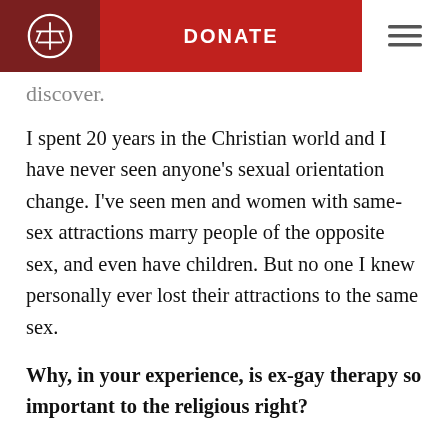DONATE
discover.
I spent 20 years in the Christian world and I have never seen anyone's sexual orientation change. I've seen men and women with same-sex attractions marry people of the opposite sex, and even have children. But no one I knew personally ever lost their attractions to the same sex.
Why, in your experience, is ex-gay therapy so important to the religious right?